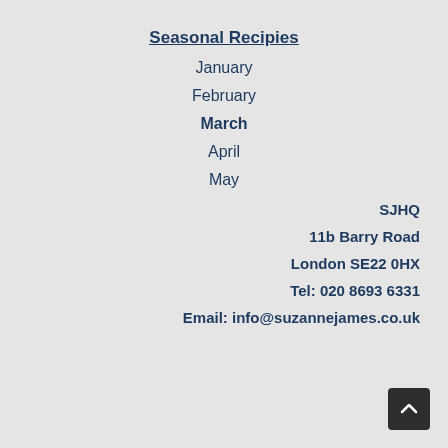Seasonal Recipies
January
February
March
April
May
SJHQ
11b Barry Road
London SE22 0HX
Tel: 020 8693 6331
Email: info@suzannejames.co.uk
[Figure (other): Back to top button arrow icon]